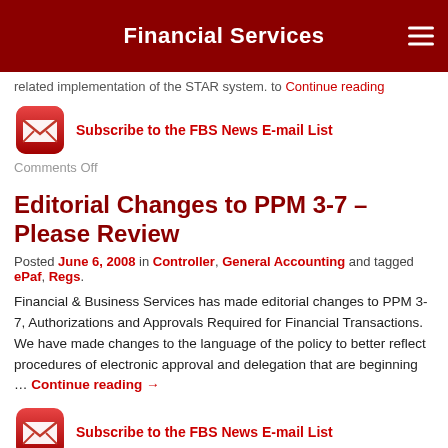Financial Services
related implementation of the STAR system. to Continue reading
[Figure (illustration): Red email envelope icon for subscribing to FBS News E-mail List]
Subscribe to the FBS News E-mail List
Comments Off
Editorial Changes to PPM 3-7 – Please Review
Posted June 6, 2008 in Controller, General Accounting and tagged ePaf, Regs.
Financial & Business Services has made editorial changes to PPM 3-7, Authorizations and Approvals Required for Financial Transactions. We have made changes to the language of the policy to better reflect procedures of electronic approval and delegation that are beginning … Continue reading →
[Figure (illustration): Red email envelope icon for subscribing to FBS News E-mail List]
Subscribe to the FBS News E-mail List
Comments Off